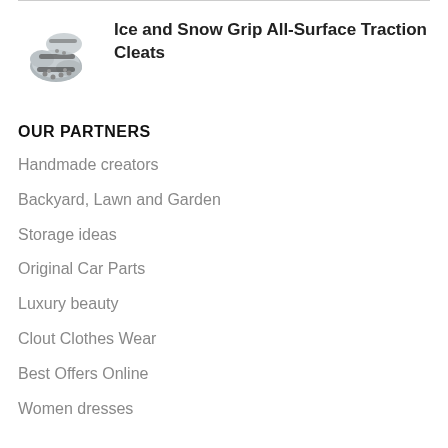[Figure (photo): Product photo of ice and snow traction cleats, grey rubber shoe attachment with metal studs]
Ice and Snow Grip All-Surface Traction Cleats
OUR PARTNERS
Handmade creators
Backyard, Lawn and Garden
Storage ideas
Original Car Parts
Luxury beauty
Clout Clothes Wear
Best Offers Online
Women dresses